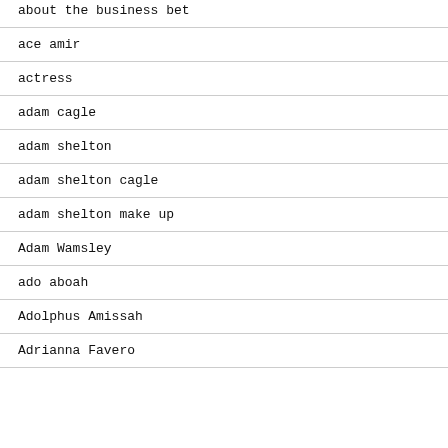about the business bet
ace amir
actress
adam cagle
adam shelton
adam shelton cagle
adam shelton make up
Adam Wamsley
ado aboah
Adolphus Amissah
Adrianna Favero